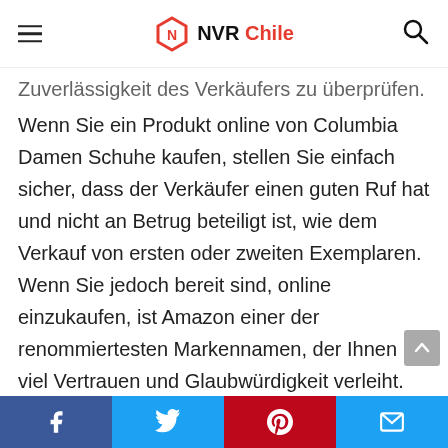NVR Chile
Zuverlässigkeit des Verkäufers zu überprüfen.
Wenn Sie ein Produkt online von Columbia Damen Schuhe kaufen, stellen Sie einfach sicher, dass der Verkäufer einen guten Ruf hat und nicht an Betrug beteiligt ist, wie dem Verkauf von ersten oder zweiten Exemplaren. Wenn Sie jedoch bereit sind, online einzukaufen, ist Amazon einer der renommiertesten Markennamen, der Ihnen viel Vertrauen und Glaubwürdigkeit verleiht.
Fazit
Das Wettbewerbsniveau im Produktbereich ist recht